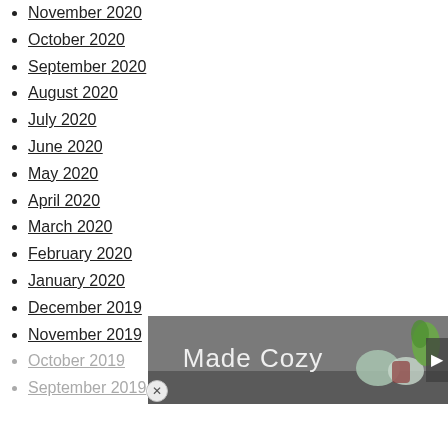November 2020
October 2020
September 2020
August 2020
July 2020
June 2020
May 2020
April 2020
March 2020
February 2020
January 2020
December 2019
November 2019
October 2019
September 2019
[Figure (photo): Overlay banner with text 'Made Cozy' over a cozy room scene with pillows and furniture, with a close button and right arrow navigation.]